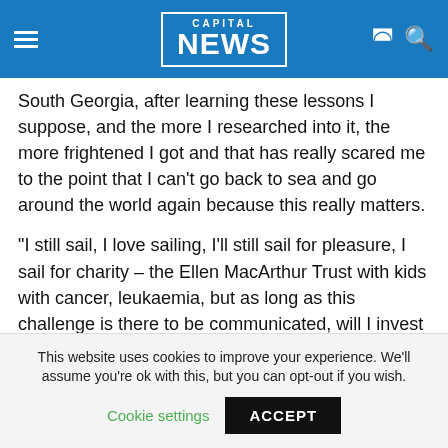CAPITAL NEWS
South Georgia, after learning these lessons I suppose, and the more I researched into it, the more frightened I got and that has really scared me to the point that I can't go back to sea and go around the world again because this really matters.
"I still sail, I love sailing, I'll still sail for pleasure, I sail for charity – the Ellen MacArthur Trust with kids with cancer, leukaemia, but as long as this challenge is there to be communicated, will I invest four years of my life to sailing round the world? No.
This website uses cookies to improve your experience. We'll assume you're ok with this, but you can opt-out if you wish.
Cookie settings   ACCEPT